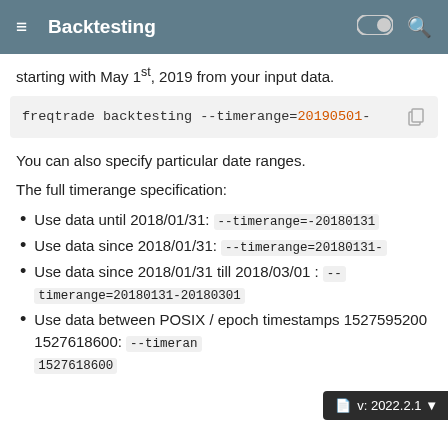Backtesting
starting with May 1st, 2019 from your input data.
You can also specify particular date ranges.
The full timerange specification:
Use data until 2018/01/31: --timerange=-20180131
Use data since 2018/01/31: --timerange=20180131-
Use data since 2018/01/31 till 2018/03/01 : --timerange=20180131-20180301
Use data between POSIX / epoch timestamps 1527595200 1527618600: --timerange=1527595200-1527618600